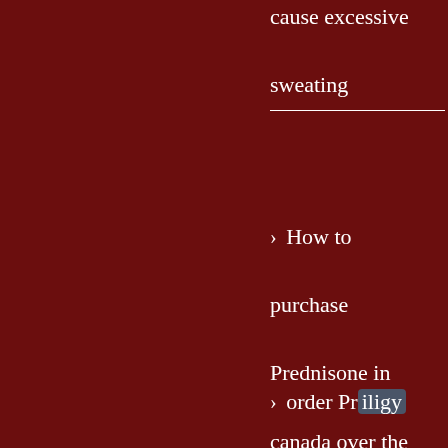cause excessive sweating
How to purchase Prednisone in canada over the counter, Alternatives to
order Priligy online no